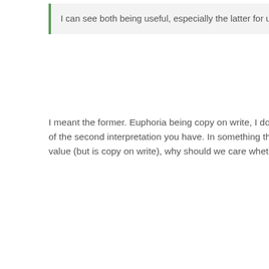I can see both being useful, especially the latter for use with classes.
I meant the former. Euphoria being copy on write, I don't appreciate the benefit of the second interpretation you have. In something that looks like copy by value (but is copy on write), why should we care whether a caller modifies it?
ghaberek said...
SDPringle said...
delete should be something that not only calls the destructor but takes the passed variable out of scope at the point in the routine it is called.
...NOVALUE and that will cause an error and crash. The front end could hide the symbol when